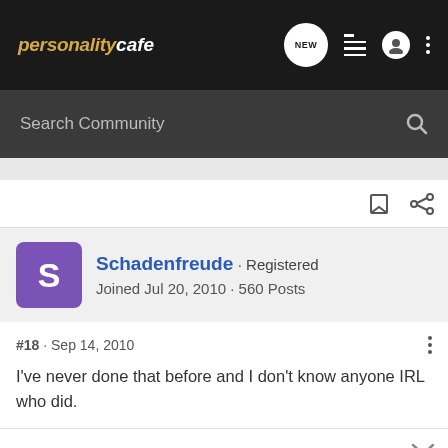personality cafe - NEW (navigation icons)
Search Community
Schadenfreude · Registered
Joined Jul 20, 2010 · 560 Posts
#18 · Sep 14, 2010
I've never done that before and I don't know anyone IRL who did.